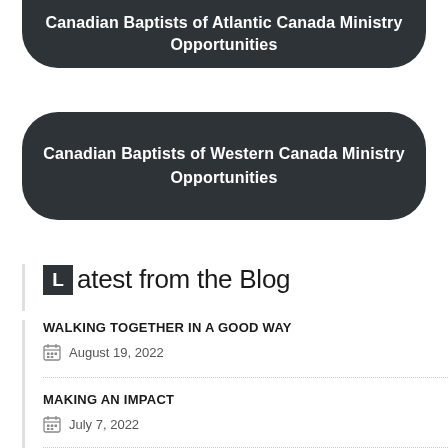Canadian Baptists of Atlantic Canada Ministry Opportunities
Canadian Baptists of Western Canada Ministry Opportunities
Latest from the Blog
WALKING TOGETHER IN A GOOD WAY
August 19, 2022
MAKING AN IMPACT
July 7, 2022